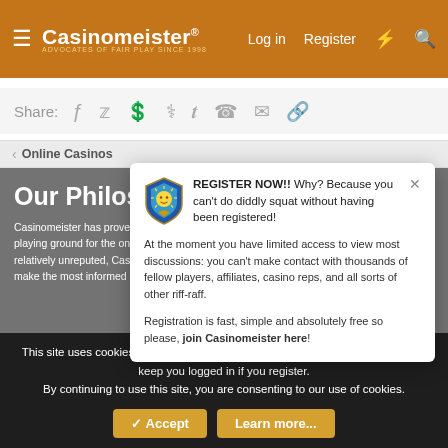Casinomeister® — Advocates of Fair Play Since 1998
Share:
Online Casinos
Our Philosophy
Casinomeister has proven to be instrumental in bringing trust, credibility, and a level playing ground for the online gaming community. In an industry that still remains to be relatively unreputed, Casinomeister has shown that information empowers the player to make the most informed decisions when it comes to online gaming.
[Figure (screenshot): Register Now popup with Casinomeister shield logo. Bold text: REGISTER NOW!! Why? Because you can't do diddly squat without having been registered! At the moment you have limited access to view most discussions: you can't make contact with thousands of fellow players, affiliates, casino reps, and all sorts of other riff-raff. Registration is fast, simple and absolutely free so please, join Casinomeister here!]
Player arbitration
This site uses cookies to help personalise content, tailor your experience and to keep you logged in if you register.
By continuing to use this site, you are consenting to our use of cookies.